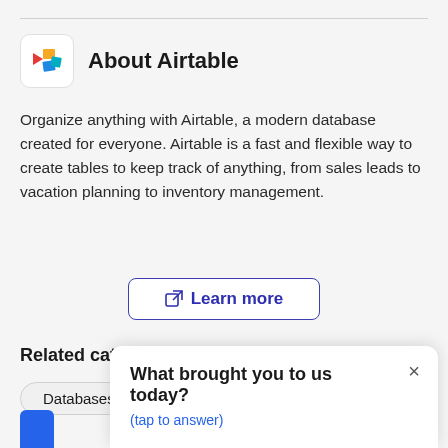About Airtable
Organize anything with Airtable, a modern database created for everyone. Airtable is a fast and flexible way to create tables to keep track of anything, from sales leads to vacation planning to inventory management.
Learn more
Related categories
Databases
Sim
What brought you to us today?
(tap to answer)